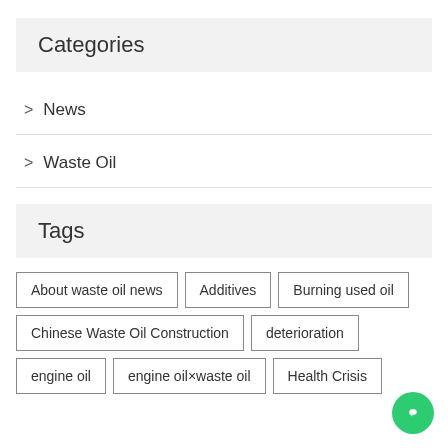Categories
> News
> Waste Oil
Tags
About waste oil news
Additives
Burning used oil
Chinese Waste Oil Construction
deterioration
engine oil
engine oil×waste oil
Health Crisis